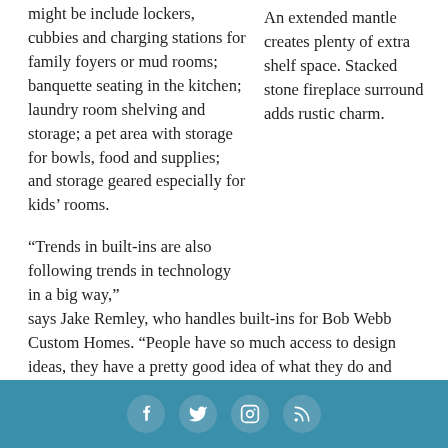might be include lockers, cubbies and charging stations for family foyers or mud rooms; banquette seating in the kitchen; laundry room shelving and storage; a pet area with storage for bowls, food and supplies; and storage geared especially for kids' rooms.
An extended mantle creates plenty of extra shelf space. Stacked stone fireplace surround adds rustic charm.
“Trends in built-ins are also following trends in technology in a big way,” says Jake Remley, who handles built-ins for Bob Webb Custom Homes. “People have so much access to design ideas, they have a pretty good idea of what they do and don’t want. And it’s our job to help them achieve it.”
Built-ins are evolving to match the needs of a technological
[social icons: Facebook, Twitter, Instagram, RSS]